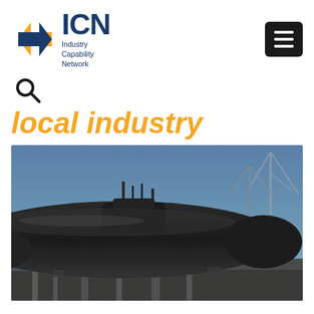[Figure (logo): ICN Industry Capability Network logo with orange arrow icon and dark blue text]
[Figure (other): Hamburger menu button (three horizontal white lines on black rounded rectangle background)]
[Figure (other): Search magnifying glass icon]
local industry
[Figure (photo): A large dark submarine in dry dock at a shipyard, viewed from the front-side angle, with cranes visible in the background against a blue sky]